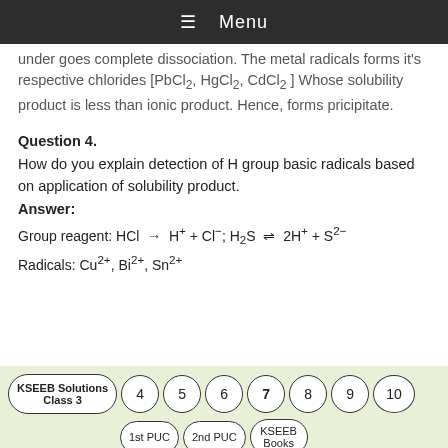≡ Menu
under goes complete dissociation. The metal radicals forms it's respective chlorides [PbCl₂, HgCl₂, CdCl₂ ] Whose solubility product is less than ionic product. Hence, forms pricipitate.
Question 4.
How do you explain detection of H group basic radicals based on application of solubility product.
Answer:
Group reagent: HCl → H⁺ + Cl⁻; H₂S ⇌ 2H⁺ + S²⁻
Radicals: Cu²⁺, Bi²⁺, Sn²⁺
KSEEB Solutions Class 3  4  5  6  7  8  9  10  1st PUC  2nd PUC  KSEEB Books